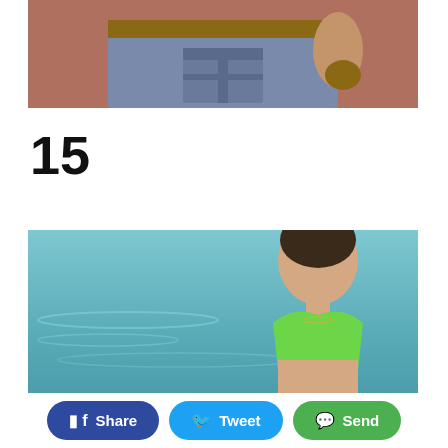[Figure (photo): Photo of a woman's back wearing low-rise jeans with a decorative belt, against a brown wall background]
15
[Figure (photo): Photo of a woman in a green halter bikini top near the ocean/sea]
Share  Tweet  Send